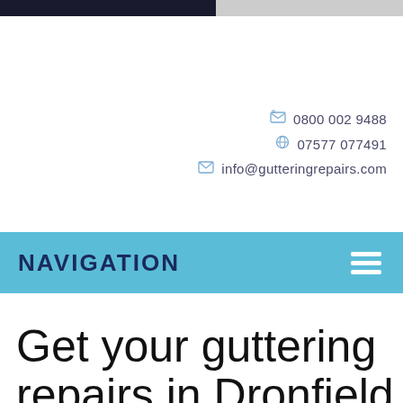NAVIGATION
☎ 0800 002 9488
☎ 07577 077491
✉ info@gutteringrepairs.com
NAVIGATION
Get your guttering repairs in Dronfield done